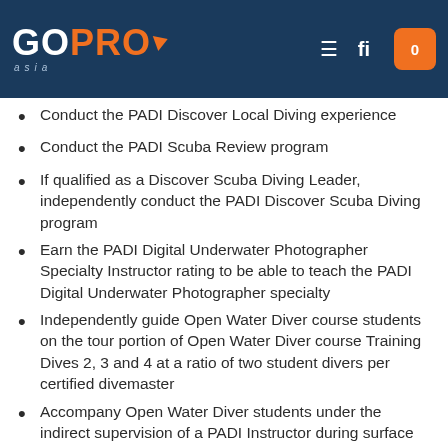GoPro Asia
Conduct the PADI Discover Local Diving experience
Conduct the PADI Scuba Review program
If qualified as a Discover Scuba Diving Leader, independently conduct the PADI Discover Scuba Diving program
Earn the PADI Digital Underwater Photographer Specialty Instructor rating to be able to teach the PADI Digital Underwater Photographer specialty
Independently guide Open Water Diver course students on the tour portion of Open Water Diver course Training Dives 2, 3 and 4 at a ratio of two student divers per certified divemaster
Accompany Open Water Diver students under the indirect supervision of a PADI Instructor during surface swims to and from the entry/exit point and during navigational exercises and when the instructor conducts a skill, such as an ascent or descent, a Divemaster can remain with other student divers (with an individual student or buddy team)
Accompany student divers during Adventure Dives or